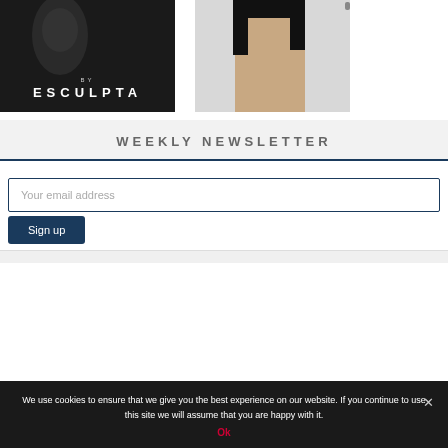[Figure (photo): Left image: dark background with fitness-related content, 'BY ESCULPTA' text overlay in white]
[Figure (photo): Right image: person wearing athletic/fitness attire, light gray background]
WEEKLY NEWSLETTER
Your email address
Sign up
We use cookies to ensure that we give you the best experience on our website. If you continue to use this site we will assume that you are happy with it.
Ok